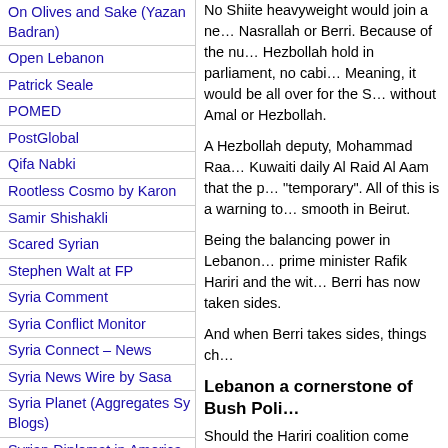On Olives and Sake (Yazan Badran)
Open Lebanon
Patrick Seale
POMED
PostGlobal
Qifa Nabki
Rootless Cosmo by Karon
Samir Shishakli
Scared Syrian
Stephen Walt at FP
Syria Comment
Syria Conflict Monitor
Syria Connect – News
Syria News Wire by Sasa
Syria Planet (Aggregates Sy Blogs)
Syrian Diplomat in America
Syrian History: Moubayed
Syrian Struggle
Syrian TV and Radio
Thara – Womens Rights
The Ajnabi
Thomas Pierret
Toot – Choice M.E. Blogs
TurcoPundit
War in Context
Yves Gonzalez
No Shiite heavyweight would join a ne… Nasrallah or Berri. Because of the nu… Hezbollah hold in parliament, no cabi… Meaning, it would be all over for the S… without Amal or Hezbollah.
A Hezbollah deputy, Mohammad Raa… Kuwaiti daily Al Raid Al Aam that the p… "temporary". All of this is a warning to… smooth in Beirut.
Being the balancing power in Lebanon… prime minister Rafik Hariri and the wit… Berri has now taken sides.
And when Berri takes sides, things ch…
Lebanon a cornerstone of Bush Poli…
Should the Hariri coalition come undone, it w… cornerstone of President Bush's forward polic… promotion. In the several countries where Wa… Iraq and Palestine – and honest elections have… disappointing to Washington because they ha… American. In other countries, such as in Egyp… carried out under US pressure, results demon… would have come to power if the countries w… government in Lebanon has been weakened b…